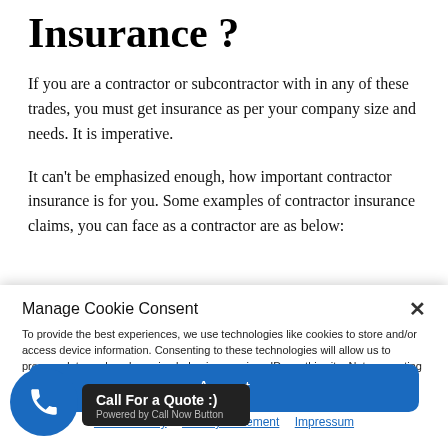Insurance ?
If you are a contractor or subcontractor with in any of these trades, you must get insurance as per your company size and needs. It is imperative.
It can’t be emphasized enough, how important contractor insurance is for you. Some examples of contractor insurance claims, you can face as a contractor are as below:
Manage Cookie Consent
To provide the best experiences, we use technologies like cookies to store and/or access device information. Consenting to these technologies will allow us to process data such as browsing behavior or unique IDs on this site. Not consenting or withdrawing consent, may adversely affect certain features and functions.
Accept
Cookie Policy   Privacy Statement   Impressum
Call For a Quote :)
Powered by Call Now Button